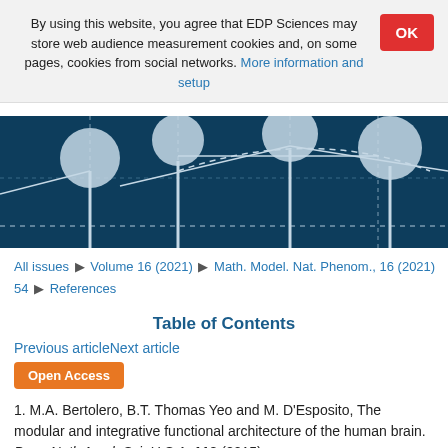By using this website, you agree that EDP Sciences may store web audience measurement cookies and, on some pages, cookies from social networks. More information and setup
[Figure (illustration): Dark blue banner with light blue circular nodes connected by lines and dashed curves, representing a network diagram]
All issues ▶ Volume 16 (2021) ▶ Math. Model. Nat. Phenom., 16 (2021) 54 ▶ References
Table of Contents
Previous articleNext article
Open Access
1. M.A. Bertolero, B.T. Thomas Yeo and M. D'Esposito, The modular and integrative functional architecture of the human brain. Proc. Natl. Acad. Sci. U.S.A. 112 (2015)